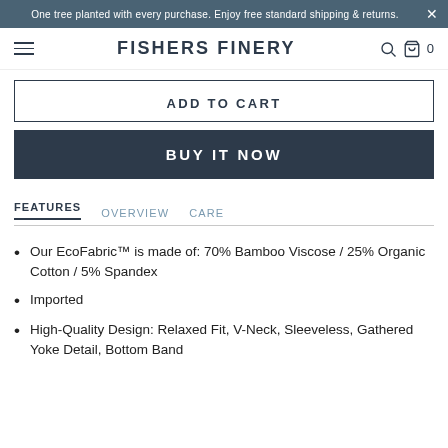One tree planted with every purchase. Enjoy free standard shipping & returns.
FISHERS FINERY
ADD TO CART
BUY IT NOW
FEATURES | OVERVIEW | CARE
Our EcoFabric™ is made of: 70% Bamboo Viscose / 25% Organic Cotton / 5% Spandex
Imported
High-Quality Design: Relaxed Fit, V-Neck, Sleeveless, Gathered Yoke Detail, Bottom Band